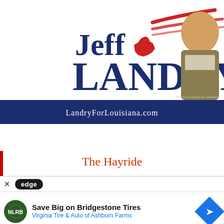[Figure (illustration): Jeff Landry political campaign advertisement. Shows 'Jeff LANDRY' in large navy blue text with a red Louisiana state silhouette and red/white diagonal stripes graphic. A smiling man in a tan/olive blazer appears on the right side. A dark navy bar at the bottom reads 'LandryForLouisiana.com'. Small text says 'Paid for by Landry for Louisiana'.]
The Hayride
Recent Articles
[Figure (screenshot): Microsoft Edge browser advertisement overlay. Shows 'edge' logo in dark pill shape, close X button, and an ad for 'Save Big on Bridgestone Tires' from 'Virginia Tire & Auto of Ashburn Farms' with a green circular logo and blue navigation arrow diamond shape.]